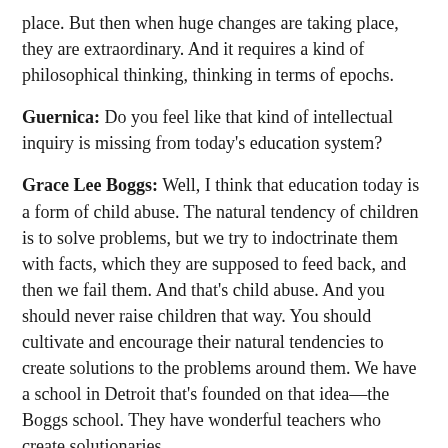place. But then when huge changes are taking place, they are extraordinary. And it requires a kind of philosophical thinking, thinking in terms of epochs.
Guernica: Do you feel like that kind of intellectual inquiry is missing from today's education system?
Grace Lee Boggs: Well, I think that education today is a form of child abuse. The natural tendency of children is to solve problems, but we try to indoctrinate them with facts, which they are supposed to feed back, and then we fail them. And that's child abuse. And you should never raise children that way. You should cultivate and encourage their natural tendencies to create solutions to the problems around them. We have a school in Detroit that's founded on that idea—the Boggs school. They have wonderful teachers who create solutionaries.
Guernica: How important is it for a movement to have a charismatic leader, or iconic slogan or image?